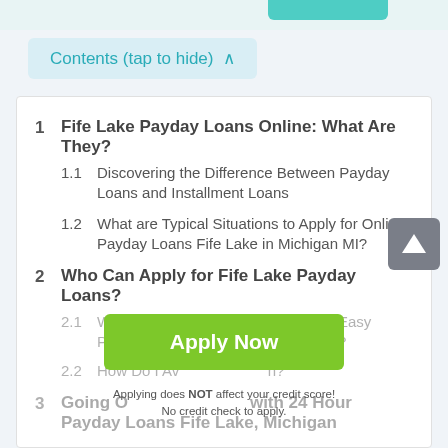Contents (tap to hide) ^
1  Fife Lake Payday Loans Online: What Are They?
1.1  Discovering the Difference Between Payday Loans and Installment Loans
1.2  What are Typical Situations to Apply for Online Payday Loans Fife Lake in Michigan MI?
2  Who Can Apply for Fife Lake Payday Loans?
2.1  What Documents Will I Need to Get Easy Payday Loans Fife Lake in Michigan?
2.2  How Do I Avoid Application?
3  Going O... with 24 Hour Payday Loans Fife Lake, Michigan
Apply Now
Applying does NOT affect your credit score! No credit check to apply.